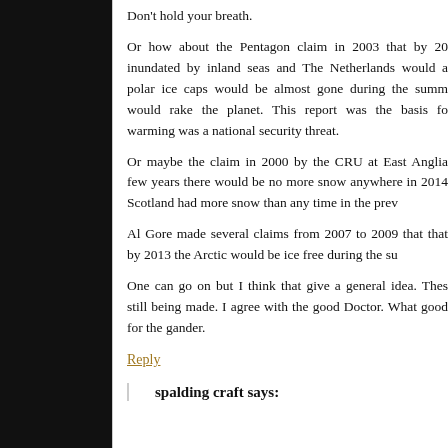Don't hold your breath.
Or how about the Pentagon claim in 2003 that by 20 inundated by inland seas and The Netherlands would a polar ice caps would be almost gone during the summ would rake the planet. This report was the basis fo warming was a national security threat.
Or maybe the claim in 2000 by the CRU at East Anglia few years there would be no more snow anywhere in 2014 Scotland had more snow than any time in the prev
Al Gore made several claims from 2007 to 2009 that that by 2013 the Arctic would be ice free during the su
One can go on but I think that give a general idea. Thes still being made. I agree with the good Doctor. What good for the gander.
Reply
spalding craft says: